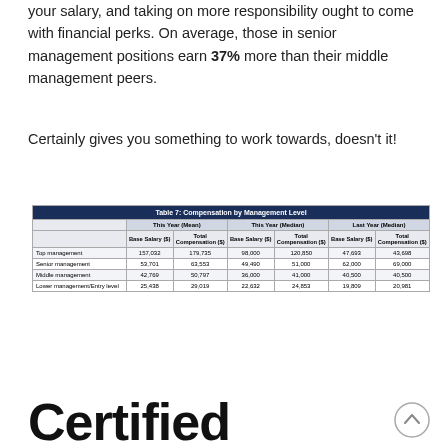your salary, and taking on more responsibility ought to come with financial perks. On average, those in senior management positions earn 37% more than their middle management peers.
Certainly gives you something to work towards, doesn't it!
|  | This Year (Mean) Base Salary ($) | This Year (Mean) Total Compensation ($) | This Year (Median) Base Salary ($) | This Year (Median) Total Compensation ($) | Last Year (Median) Base Salary ($) | Last Year (Median) Total Compensation ($) |
| --- | --- | --- | --- | --- | --- | --- |
| Top management | 157,032 | 179,735 | 98,000 | 120,850 | 47,693 | 43,698 |
| Senior management | 53,701 | 63,553 | 49,490 | 51,000 | 62,000 | 69,000 |
| Middle management | 42,769 | 50,797 | 36,000 | 41,000 | 40,500 | 40,500 |
| Lower management/Entry level | 25,438 | 29,019 | 22,632 | 24,853 | 19,809 | 20,981 |
Certified